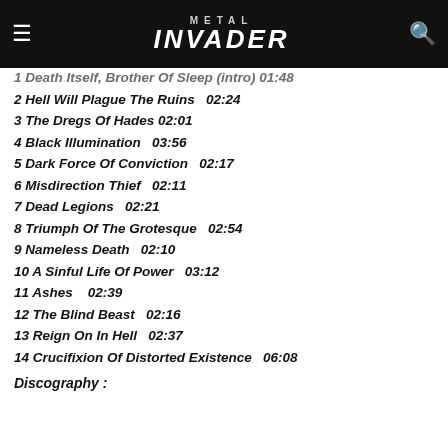METAL INVADER
1 Death Itself, Brother Of Sleep (intro) 01:48
2 Hell Will Plague The Ruins  02:24
3 The Dregs Of Hades 02:01
4 Black Illumination  03:56
5 Dark Force Of Conviction  02:17
6 Misdirection Thief  02:11
7 Dead Legions  02:21
8 Triumph Of The Grotesque  02:54
9 Nameless Death  02:10
10 A Sinful Life Of Power  03:12
11 Ashes   02:39
12 The Blind Beast  02:16
13 Reign On In Hell  02:37
14 Crucifixion Of Distorted Existence  06:08
Discography :